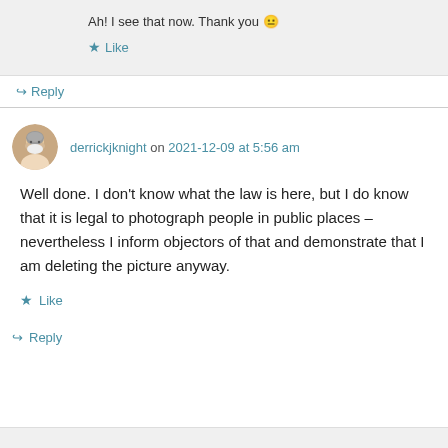Ah! I see that now. Thank you 😐
★ Like
↪ Reply
derrickjknight on 2021-12-09 at 5:56 am
Well done. I don't know what the law is here, but I do know that it is legal to photograph people in public places – nevertheless I inform objectors of that and demonstrate that I am deleting the picture anyway.
★ Like
↪ Reply